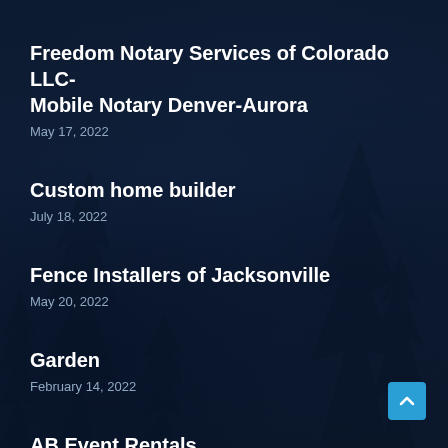Freedom Notary Services of Colorado LLC- Mobile Notary Denver-Aurora
May 17, 2022
Custom home builder
July 18, 2022
Fence Installers of Jacksonville
May 20, 2022
Garden
February 14, 2022
AB Event Rentals
June 2, 2022